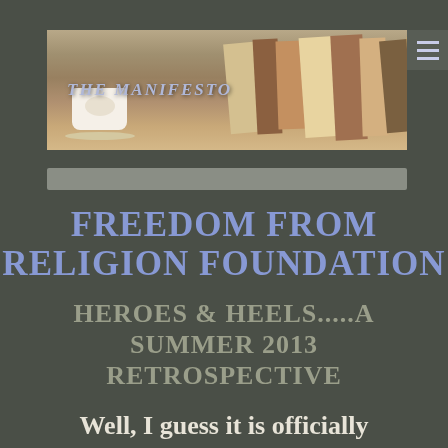[Figure (photo): Blog header banner image showing a coffee cup on a saucer and stacked books on a table, with the text 'THE MANIFESTO' overlaid in light blue italic text]
FREEDOM FROM RELIGION FOUNDATION
HEROES & HEELS.....A SUMMER 2013 RETROSPECTIVE
Well, I guess it is officially